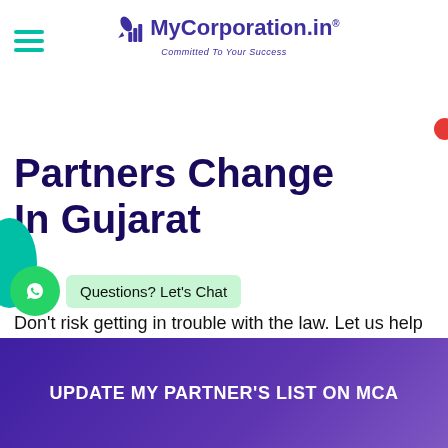[Figure (logo): MyCorporation.in logo with bar chart icon and tagline 'Committed To Your Success']
Partners Change In Gujarat
Don't risk getting in trouble with the law. Let us help you with change in your partners.
[Figure (screenshot): WhatsApp chat widget with green WhatsApp icon and 'Questions? Let's Chat' bubble]
UPDATE MY PARTNER'S LIST ON MCA